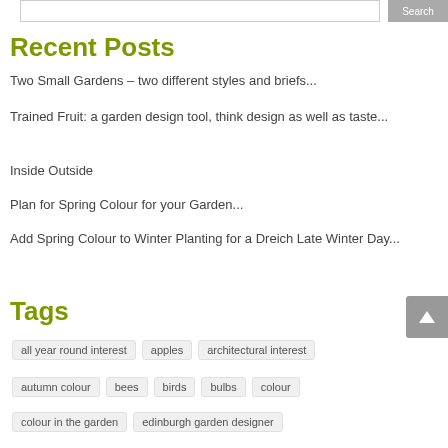Recent Posts
Two Small Gardens – two different styles and briefs...
Trained Fruit: a garden design tool, think design as well as taste...
Inside Outside
Plan for Spring Colour for your Garden...
Add Spring Colour to Winter Planting for a Dreich Late Winter Day...
Tags
all year round interest
apples
architectural interest
autumn colour
bees
birds
bulbs
colour
colour in the garden
edinburgh garden designer